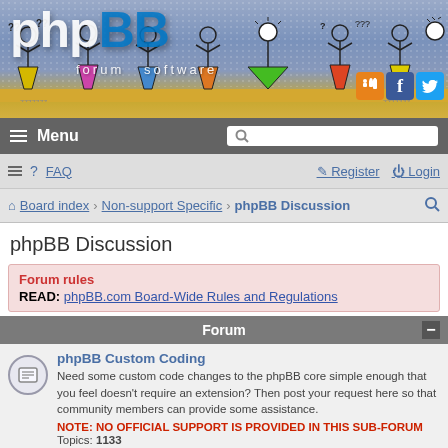[Figure (illustration): phpBB forum software banner with stick figure children on colorful background, RSS/Facebook/Twitter social icons in bottom right]
≡ Menu [search bar]
≡ ? FAQ   Register   Login
Board index › Non-support Specific › phpBB Discussion [search icon]
phpBB Discussion
Forum rules
READ: phpBB.com Board-Wide Rules and Regulations
Forum
phpBB Custom Coding
Need some custom code changes to the phpBB core simple enough that you feel doesn't require an extension? Then post your request here so that community members can provide some assistance.
NOTE: NO OFFICIAL SUPPORT IS PROVIDED IN THIS SUB-FORUM
Topics: 1133